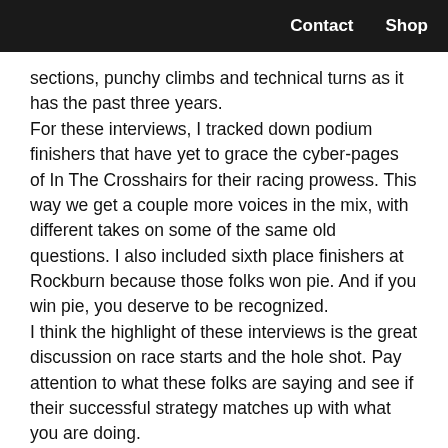Contact   Shop
sections, punchy climbs and technical turns as it has the past three years.
For these interviews, I tracked down podium finishers that have yet to grace the cyber-pages of In The Crosshairs for their racing prowess. This way we get a couple more voices in the mix, with different takes on some of the same old questions. I also included sixth place finishers at Rockburn because those folks won pie. And if you win pie, you deserve to be recognized.
I think the highlight of these interviews is the great discussion on race starts and the hole shot. Pay attention to what these folks are saying and see if their successful strategy matches up with what you are doing.
Thanks for reading.